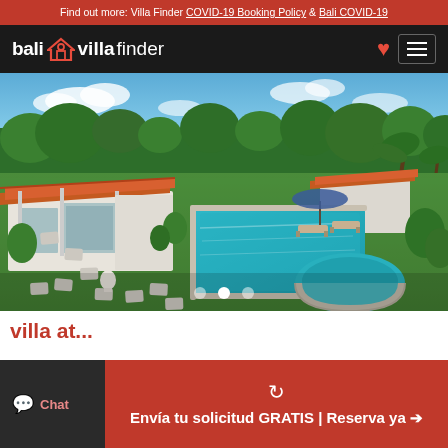Find out more: Villa Finder COVID-19 Booking Policy & Bali COVID-19
[Figure (logo): Bali Villa Finder logo with house icon on dark background, with heart and hamburger menu icons]
[Figure (photo): Aerial view of a Balinese villa with orange tiled roofs, lush tropical garden, large rectangular swimming pool with jacuzzi, lounge chairs under blue umbrella, stepping stone pathway on green lawn]
villa at...
Envía tu solicitud GRATIS | Reserva ya
Chat